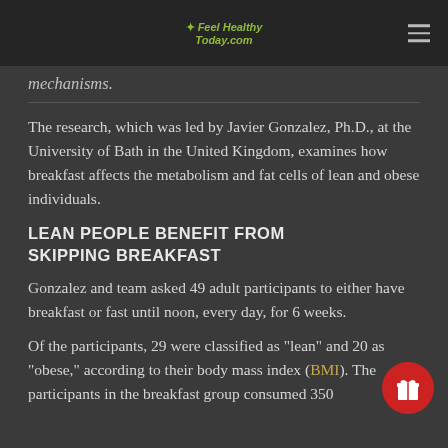Feel Healthy Today.com
mechanisms.
The research, which was led by Javier Gonzalez, Ph.D., at the University of Bath in the United Kingdom, examines how breakfast affects the metabolism and fat cells of lean and obese individuals.
LEAN PEOPLE BENEFIT FROM SKIPPING BREAKFAST
Gonzalez and team asked 49 adult participants to either have breakfast or fast until noon, every day, for 6 weeks.
Of the participants, 29 were classified as "lean" and 20 as "obese," according to their body mass index (BMI). The participants in the breakfast group consumed 350